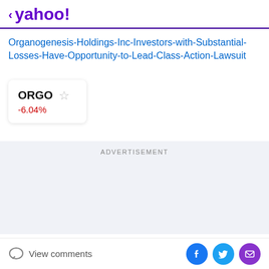yahoo!
Organogenesis-Holdings-Inc-Investors-with-Substantial-Losses-Have-Opportunity-to-Lead-Class-Action-Lawsuit
ORGO -6.04%
ADVERTISEMENT
View comments